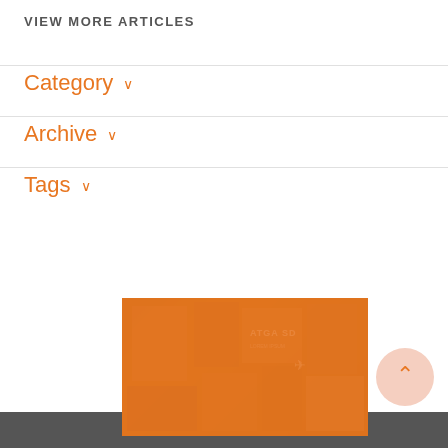VIEW MORE ARTICLES
Category ∨
Archive ∨
Tags ∨
[Figure (photo): Orange-tinted photo of a wall covered in posters or flyers, with text 'ATGA SD' visible. Photo has a strong orange color overlay.]